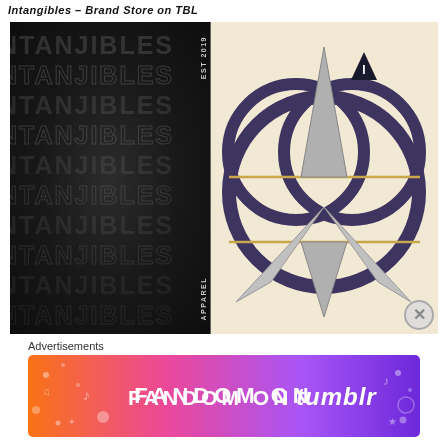Intangibles – Brand Store on TBL
[Figure (photo): Product image showing two items: a black crumpled-texture card/poster with 'INTANGIBLES' text repeated in stacked grunge style with 'EST 2019' and 'APPAREL' vertical labels; and a cream/beige card with a stylized Mandalorian-like symbol (circular overlapping rings with a central pointed shape and small triangle logo) in dark purple/navy and silver metallic.]
Advertisements
[Figure (illustration): Fandom on Tumblr advertisement banner with colorful gradient background (orange to pink to purple) and text 'FANDOM ON tumblr' with decorative icons and symbols]